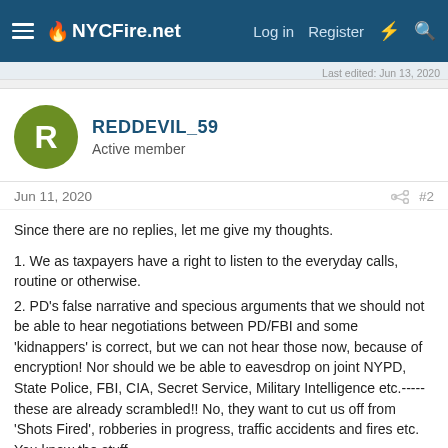NYCFire.net — Log in   Register
Last edited: Jun 13, 2020
REDDEVIL_59
Active member
Jun 11, 2020   #2
Since there are no replies, let me give my thoughts.

1. We as taxpayers have a right to listen to the everyday calls, routine or otherwise.
2. PD's false narrative and specious arguments that we should not be able to hear negotiations between PD/FBI and some 'kidnappers' is correct, but we can not hear those now, because of encryption! Nor should we be able to eavesdrop on joint NYPD, State Police, FBI, CIA, Secret Service, Military Intelligence etc.-----these are already scrambled!! No, they want to cut us off from 'Shots Fired', robberies in progress, traffic accidents and fires etc. You know the stuff.